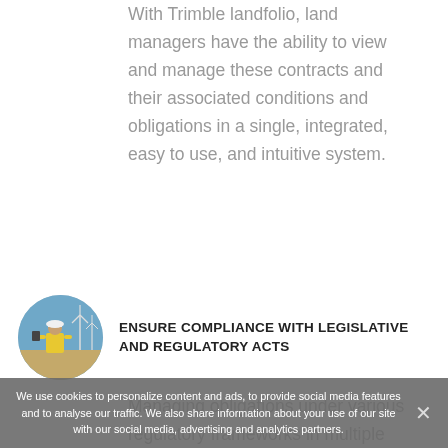With Trimble landfolio, land managers have the ability to view and manage these contracts and their associated conditions and obligations in a single, integrated, easy to use, and intuitive system.
[Figure (photo): Circular photo of a worker in a yellow vest and white hard hat standing in front of wind turbines]
ENSURE COMPLIANCE WITH LEGISLATIVE AND REGULATORY ACTS
Managing obligations under various regulatory frameworks in multiple jurisdictions is often complex and time consuming. Failure to meet lease and permit obligations may cause delay to development projects or potentially lead to